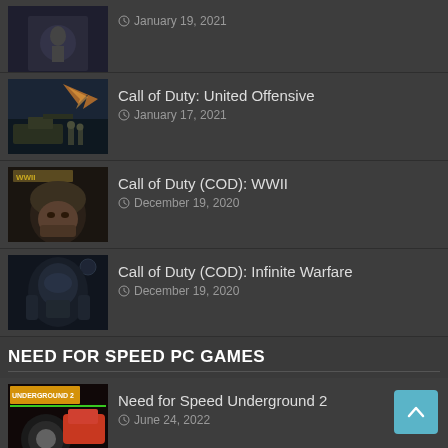January 19, 2021
Call of Duty: United Offensive
January 17, 2021
Call of Duty (COD): WWII
December 19, 2020
Call of Duty (COD): Infinite Warfare
December 19, 2020
NEED FOR SPEED PC GAMES
Need for Speed Underground 2
June 24, 2022
Need for Speed (partial)